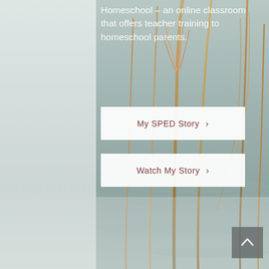[Figure (photo): Background photograph of dried reed grasses with blurred water/sky in muted teal-grey tones. Left edge has a semi-transparent white strip. Bottom portion has a light translucent overlay box.]
Homeschool – an online classroom that offers teacher training to homeschool parents.
My SPED Story ›
Watch My Story ›